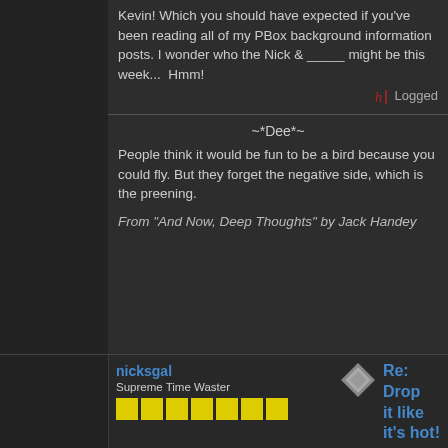Kevin! Which you should have expected if you've been reading all of my PBox background information posts. I wonder who the Nick & _____ might be this week...  Hmm!
Logged
~*Dee*~
People think it would be fun to be a bird because you could fly. But they forget the negative side, which is the preening.
From "And Now, Deep Thoughts" by Jack Handey
nicksgal
Supreme Time Waster
Re: Drop it like it's hot!